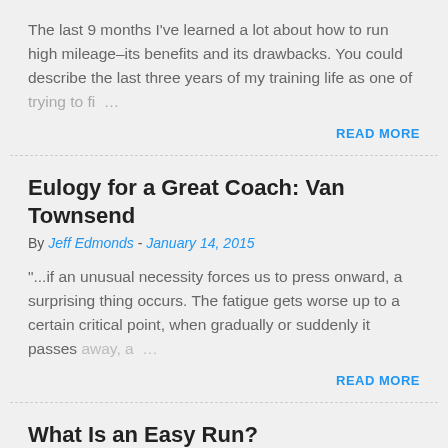The last 9 months I've learned a lot about how to run high mileage–its benefits and its drawbacks. You could describe the last three years of my training life as one of trying to fi…
READ MORE
Eulogy for a Great Coach: Van Townsend
By Jeff Edmonds - January 14, 2015
"...if an unusual necessity forces us to press onward, a surprising thing occurs. The fatigue gets worse up to a certain critical point, when gradually or suddenly it passes away, a…
READ MORE
What Is an Easy Run?
By Jeff Edmonds - January 12, 2013